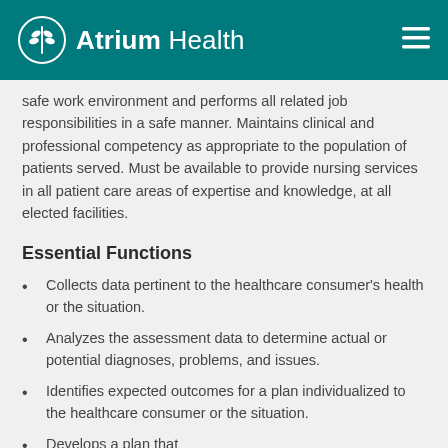Atrium Health
safe work environment and performs all related job responsibilities in a safe manner. Maintains clinical and professional competency as appropriate to the population of patients served. Must be available to provide nursing services in all patient care areas of expertise and knowledge, at all elected facilities.
Essential Functions
Collects data pertinent to the healthcare consumer's health or the situation.
Analyzes the assessment data to determine actual or potential diagnoses, problems, and issues.
Identifies expected outcomes for a plan individualized to the healthcare consumer or the situation.
Develops a plan that…